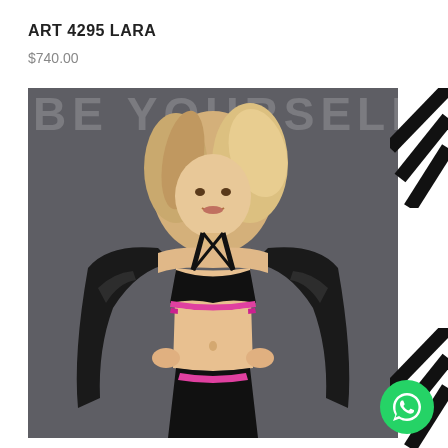ART 4295 LARA
$740.00
[Figure (photo): Fashion product photo of a blonde woman wearing a black sports bra and black bikini bottom with pink stripe detail, with a black shiny jacket draped around her shoulders, posed against a dark grey background with 'BE YOURSELF' text overlay at top]
[Figure (logo): WhatsApp icon button (green circle with white phone handset icon) in bottom-right corner]